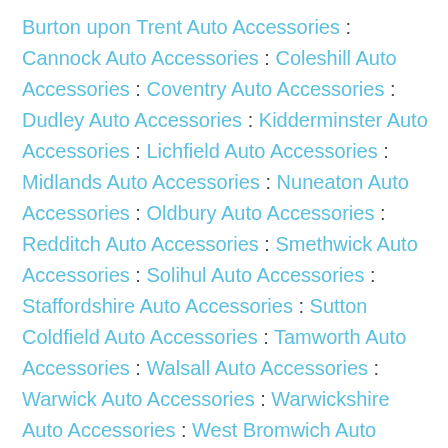Burton upon Trent Auto Accessories : Cannock Auto Accessories : Coleshill Auto Accessories : Coventry Auto Accessories : Dudley Auto Accessories : Kidderminster Auto Accessories : Lichfield Auto Accessories : Midlands Auto Accessories : Nuneaton Auto Accessories : Oldbury Auto Accessories : Redditch Auto Accessories : Smethwick Auto Accessories : Solihul Auto Accessories : Staffordshire Auto Accessories : Sutton Coldfield Auto Accessories : Tamworth Auto Accessories : Walsall Auto Accessories : Warwick Auto Accessories : Warwickshire Auto Accessories : West Bromwich Auto Accessories : Wolverhampton Auto Accessories : Worcester Auto Accessories :